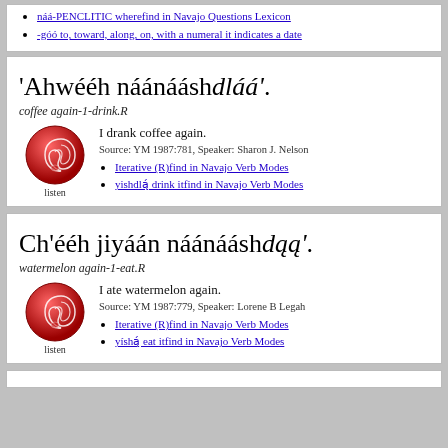náá-PENCLITIC wherefind in Navajo Questions Lexicon
-góó to, toward, along, on, with a numeral it indicates a date
'Ahwééh náánááshdlááʼ.
coffee again-1-drink.R
I drank coffee again.
Source: YM 1987:781, Speaker: Sharon J. Nelson
Iterative (R)find in Navajo Verb Modes
yishdlǫ́ drink itfind in Navajo Verb Modes
Ch’ééh jiyáán náánááshdááʼ.
watermelon again-1-eat.R
I ate watermelon again.
Source: YM 1987:779, Speaker: Lorene B Legah
Iterative (R)find in Navajo Verb Modes
yíshǫ́ eat itfind in Navajo Verb Modes